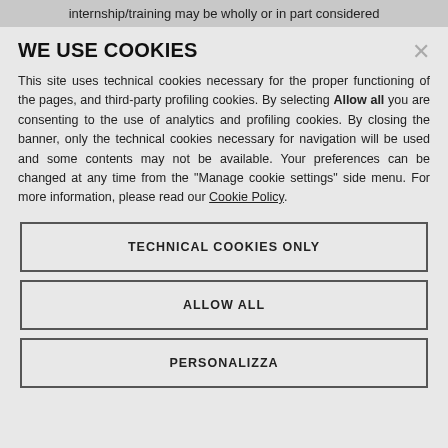internship/training may be wholly or in part considered
WE USE COOKIES
This site uses technical cookies necessary for the proper functioning of the pages, and third-party profiling cookies. By selecting Allow all you are consenting to the use of analytics and profiling cookies. By closing the banner, only the technical cookies necessary for navigation will be used and some contents may not be available. Your preferences can be changed at any time from the "Manage cookie settings" side menu. For more information, please read our Cookie Policy.
TECHNICAL COOKIES ONLY
ALLOW ALL
PERSONALIZZA